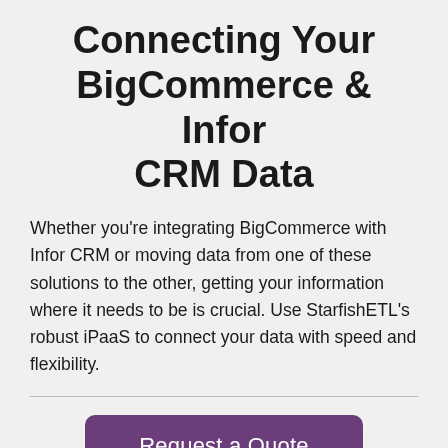Connecting Your BigCommerce & Infor CRM Data
Whether you're integrating BigCommerce with Infor CRM or moving data from one of these solutions to the other, getting your information where it needs to be is crucial. Use StarfishETL's robust iPaaS to connect your data with speed and flexibility.
[Figure (other): Horizontal divider line separating body text from the call-to-action button]
Request a Quote